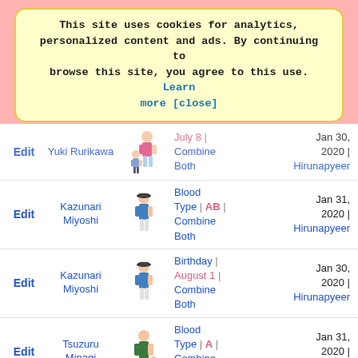This site uses cookies for analytics, personalized content and ads. By continuing to browse this site, you agree to this use. Learn more [close]
| Edit | Name | Image | Info | Date | User |
| --- | --- | --- | --- | --- |
| Edit | Yuki Rurikawa | [img] | July 8 | Combine Both | Jan 30, 2020 | Hirunapyeer |
| Edit | Kazunari Miyoshi | [img] | Blood Type | AB | Combine Both | Jan 31, 2020 | Hirunapyeer |
| Edit | Kazunari Miyoshi | [img] | Birthday | August 1 | Combine Both | Jan 30, 2020 | Hirunapyeer |
| Edit | Tsuzuru Minagi | [img] | Blood Type | A | Combine Both | Jan 31, 2020 | Hirunapyeer |
| Edit | Tsuzuru | [img] | Height | 180cm | | Jan 30, 2020 | |